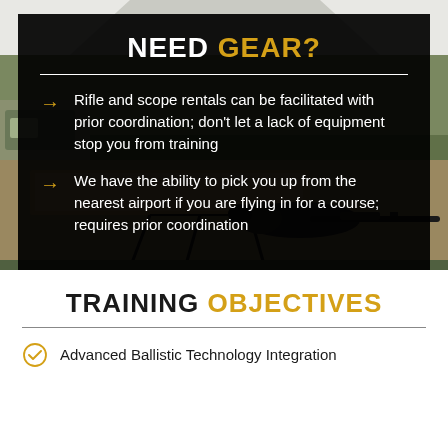[Figure (photo): Outdoor shooting range with a person lying prone aiming a rifle on a bench/table, under a white tent canopy, with green vegetation in the background and vehicles visible.]
NEED GEAR?
Rifle and scope rentals can be facilitated with prior coordination; don't let a lack of equipment stop you from training
We have the ability to pick you up from the nearest airport if you are flying in for a course; requires prior coordination
TRAINING OBJECTIVES
Advanced Ballistic Technology Integration